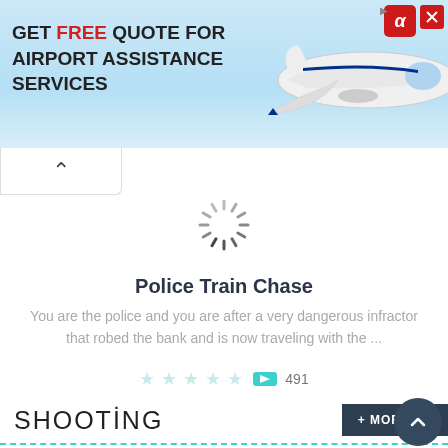[Figure (screenshot): Advertisement banner for airport assistance services with airplane image. Text: GET FREE QUOTE FOR AIRPORT ASSISTANCE SERVICES]
[Figure (other): Loading spinner animation]
Police Train Chase
You are the police and you are after a very dangerous infractor that robed the bank and is now traveling with the ...
★★★★★  491
SHOOTING
+ MORE GAMES